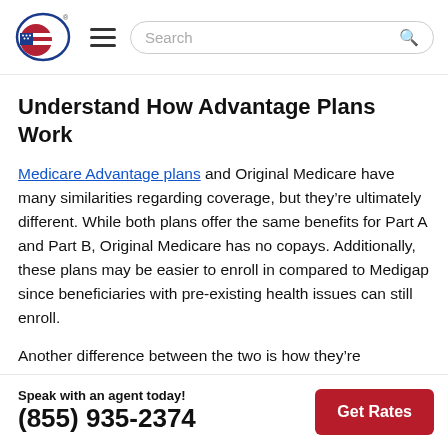[Figure (logo): USA Medicare insurance logo with American flag and circular orbit graphic]
Understand How Advantage Plans Work
Medicare Advantage plans and Original Medicare have many similarities regarding coverage, but they're ultimately different. While both plans offer the same benefits for Part A and Part B, Original Medicare has no copays. Additionally, these plans may be easier to enroll in compared to Medigap since beneficiaries with pre-existing health issues can still enroll.
Another difference between the two is how they're managed. Original Medicare is a federal program...
Speak with an agent today! (855) 935-2374  Get Rates